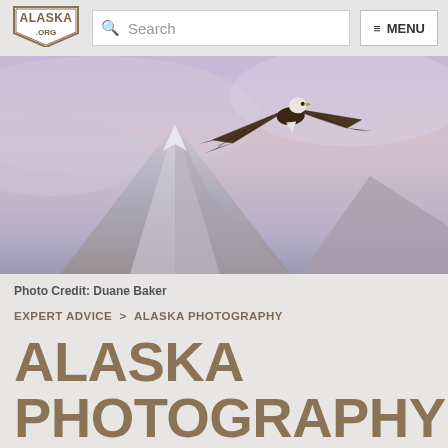ALASKA.ORG | Search | MENU
[Figure (photo): Bald eagle soaring with wings spread wide over a snow-capped mountain peak under a purple-pink misty sky]
Photo Credit: Duane Baker
EXPERT ADVICE > ALASKA PHOTOGRAPHY
ALASKA PHOTOGRAPHY